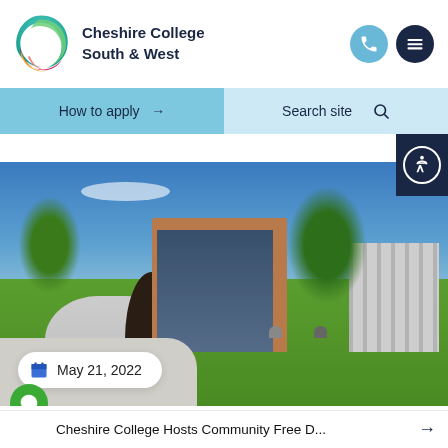[Figure (logo): Cheshire College South & West logo - colorful swirl C shape in teal, green, pink, and orange]
Cheshire College
South & West
How to apply →
Search site 🔍
[Figure (photo): Cheshire College campus building with glass facade, brick exterior, blue sky, green trees, students relaxing on grass and walkways]
May 21, 2022
Cheshire College Hosts Community Free D...